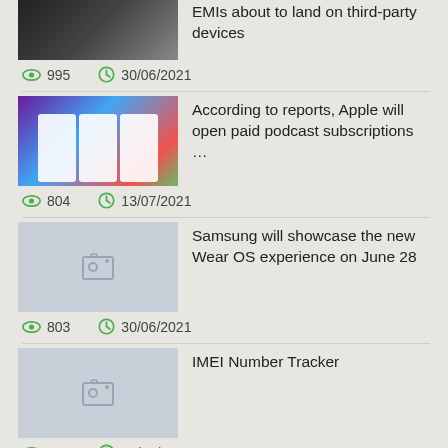EMIs about to land on third-party devices | views: 995 | date: 30/06/2021
According to reports, Apple will open paid podcast subscriptions … | views: 804 | date: 13/07/2021
Samsung will showcase the new Wear OS experience on June 28 | views: 803 | date: 30/06/2021
IMEI Number Tracker | views: 764 | date: 24/08/2021
The next "Symfonisk" from IKEA and Sonos may be a frame… | views: 721 | date: 18/07/2021
Apple Watch Series 6 is now priced